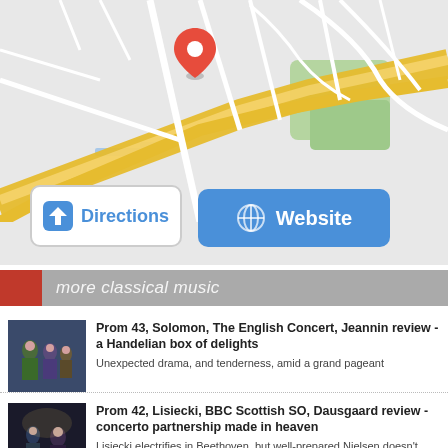[Figure (map): Google Maps-style street map with a red location pin marker, showing roads including a major yellow diagonal road, white residential streets, and green park areas. Two action buttons overlay the bottom of the map: 'Directions' (white/blue outlined) and 'Website' (solid blue).]
more classical music
[Figure (photo): Concert performers on stage, people in formal attire including a woman in green dress]
Prom 43, Solomon, The English Concert, Jeannin review - a Handelian box of delights
Unexpected drama, and tenderness, amid a grand pageant
[Figure (photo): Concert performers on stage in dark setting]
Prom 42, Lisiecki, BBC Scottish SO, Dausgaard review - concerto partnership made in heaven
Lisiecki electrifies in Beethoven, but well-prepared Nielsen doesn't quite storm the heights